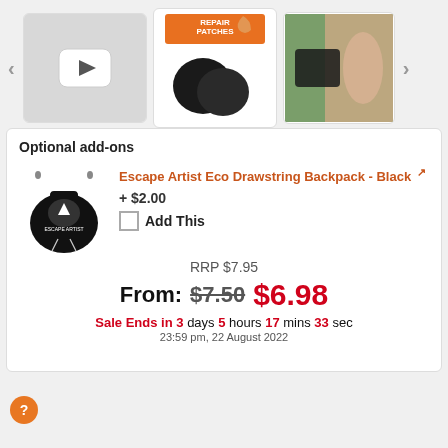[Figure (screenshot): Product image gallery with three thumbnails: a video thumbnail with play button, a product photo of Gear Aid Repair Patches, and a photo of hands applying a patch to green fabric. Navigation arrows on left and right.]
Optional add-ons
[Figure (photo): Black Escape Artist Eco Drawstring Backpack]
Escape Artist Eco Drawstring Backpack - Black + $2.00
Add This
RRP $7.95
From: $7.50 $6.98
Sale Ends in 3 days 5 hours 17 mins 33 sec
23:59 pm, 22 August 2022